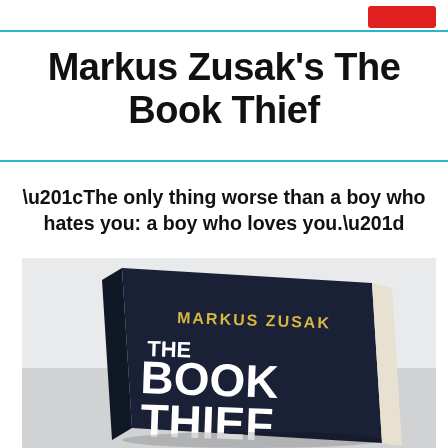Markus Zusak's The Book Thief
“The only thing worse than a boy who hates you: a boy who loves you.”
[Figure (photo): Photo of the book 'The Book Thief' by Markus Zusak, showing the dark navy cover with yellow author name 'MARKUS ZUSAK' and large white bold text 'THE BOOK THIEF', propped at an angle on a light surface.]